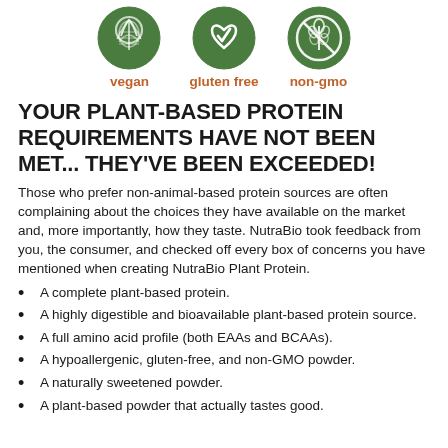[Figure (illustration): Three circular green icons: vegan (leaf/plant design), gluten free (wheat with checkmark), non-gmo (wheat crossed out), each labeled in orange/rust text below]
YOUR PLANT-BASED PROTEIN REQUIREMENTS HAVE NOT BEEN MET... THEY'VE BEEN EXCEEDED!
Those who prefer non-animal-based protein sources are often complaining about the choices they have available on the market and, more importantly, how they taste. NutraBio took feedback from you, the consumer, and checked off every box of concerns you have mentioned when creating NutraBio Plant Protein.
A complete plant-based protein.
A highly digestible and bioavailable plant-based protein source.
A full amino acid profile (both EAAs and BCAAs).
A hypoallergenic, gluten-free, and non-GMO powder.
A naturally sweetened powder.
A plant-based powder that actually tastes good.